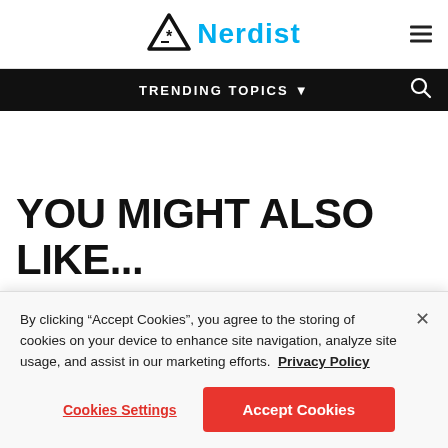[Figure (logo): Nerdist logo: triangle with asterisk icon and 'Nerdist' in cyan bold text, hamburger menu icon on right]
TRENDING TOPICS ▼
YOU MIGHT ALSO LIKE...
[Figure (photo): Partial image showing sky and a blurred figure, with a glasses icon overlay in top left]
By clicking “Accept Cookies”, you agree to the storing of cookies on your device to enhance site navigation, analyze site usage, and assist in our marketing efforts.  Privacy Policy
Cookies Settings
Accept Cookies